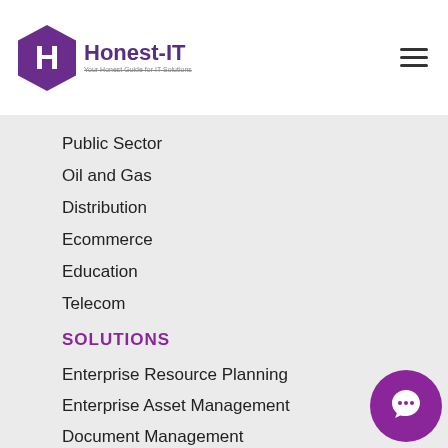[Figure (logo): Honest-IT logo with hexagon H icon and tagline 'Your Honest Guide for IT Solutions']
Public Sector
Oil and Gas
Distribution
Ecommerce
Education
Telecom
SOLUTIONS
Enterprise Resource Planning
Enterprise Asset Management
Document Management
Financial Management
Business Intelligence